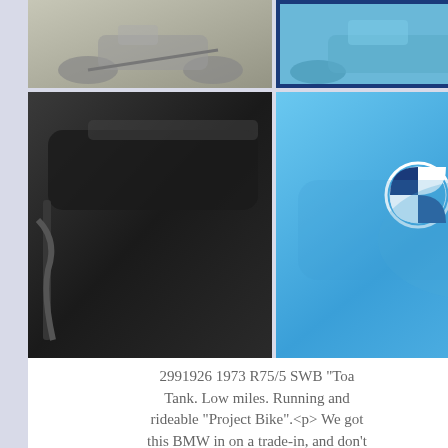[Figure (photo): Four motorcycle photos in a 2x2 grid: top-left shows a grey/silver motorcycle side view, top-right shows a blue motorcycle side view with dark blue border highlight, bottom-left shows a black motorcycle seat close-up, bottom-right shows a blue BMW fuel tank close-up with BMW logo]
2991926 1973 R75/5 SWB "Toa... Tank. Low miles. Running and rideable "Project Bike".<p> We got this BMW in on a trade-in, and don't have time immediately to give it the end-to-end deep service that we do on most BMWs that we sell. We have rebuilt the carburetors, tuned the motor, and changed oil and filter on the motor, and changed the gear oil on the transmission, driveshaft, and final drive. Since it takes special tools to fix the weak spring on the transmission shifter, we went ahead and pulled the transmission